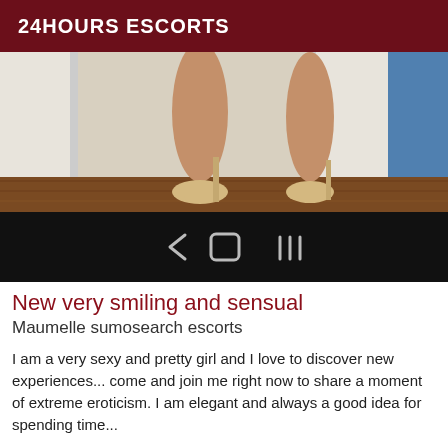24HOURS ESCORTS
[Figure (photo): Photo showing legs wearing high platform heels standing on a wooden floor near white door frames, with a blue curtain visible at right. Bottom portion shows a black navigation bar with Android navigation icons.]
New very smiling and sensual
Maumelle sumosearch escorts
I am a very sexy and pretty girl and I love to discover new experiences... come and join me right now to share a moment of extreme eroticism. I am elegant and always a good idea for spending time...